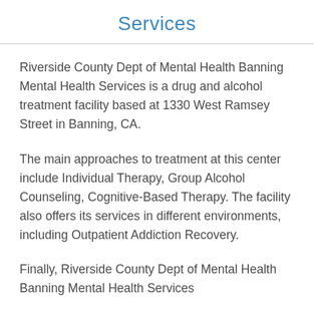Services
Riverside County Dept of Mental Health Banning Mental Health Services is a drug and alcohol treatment facility based at 1330 West Ramsey Street in Banning, CA.
The main approaches to treatment at this center include Individual Therapy, Group Alcohol Counseling, Cognitive-Based Therapy. The facility also offers its services in different environments, including Outpatient Addiction Recovery.
Finally, Riverside County Dept of Mental Health Banning Mental Health Services